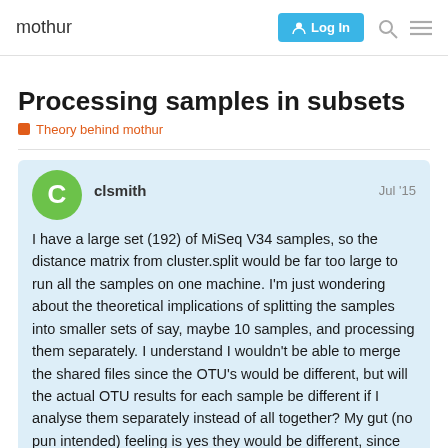mothur  Log In
Processing samples in subsets
Theory behind mothur
clsmith  Jul '15
I have a large set (192) of MiSeq V34 samples, so the distance matrix from cluster.split would be far too large to run all the samples on one machine. I'm just wondering about the theoretical implications of splitting the samples into smaller sets of say, maybe 10 samples, and processing them separately. I understand I wouldn't be able to merge the shared files since the OTU's would be different, but will the actual OTU results for each sample be different if I analyse them separately instead of all together? My gut (no pun intended) feeling is yes they would be different, since the clustering would be different, but I wanted to get a second opinion.
1 / 8